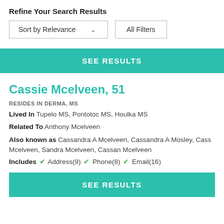Refine Your Search Results
Sort by Relevance   All Filters
SEE RESULTS
Cassie Mcelveen, 51
RESIDES IN DERMA, MS
Lived In Tupelo MS, Pontotoc MS, Houlka MS
Related To Anthony Mcelveen
Also known as Cassandra A Mcelveen, Cassandra A Mosley, Cass Mcelveen, Sandra Mcelveen, Cassan Mcelveen
Includes ✓ Address(9) ✓ Phone(8) ✓ Email(16)
SEE RESULTS